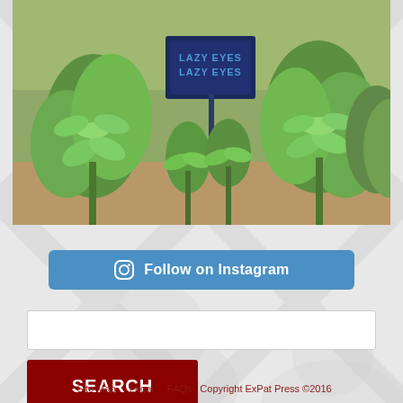[Figure (photo): Garden photo showing green plants with a dark sign reading 'LAZY EYES' in blue lettering, set against a sandy/gravel background with lush green foliage surrounding it.]
Follow on Instagram
Search box
SEARCH
Site Map   Legal   FAQs   Copyright ExPat Press ©2016